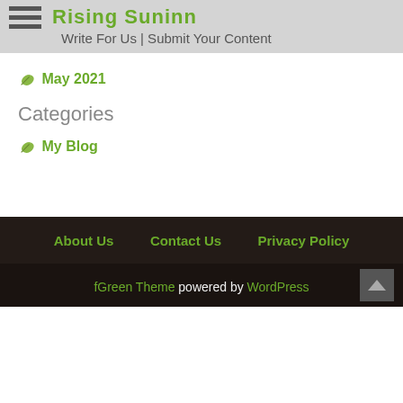Rising Suninn
Write For Us | Submit Your Content
May 2021
Categories
My Blog
About Us   Contact Us   Privacy Policy
fGreen Theme powered by WordPress